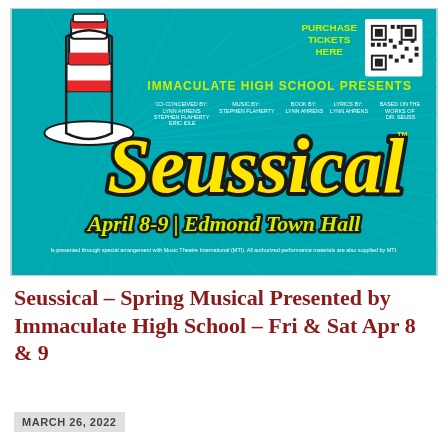[Figure (illustration): Seussical musical poster for Immaculate High School. Teal/cyan background with radiating rays. Features Cat in the Hat hat illustration top-left. Yellow 'Seussical' logo text with black outline in center. 'IMMACULATE HIGH SCHOOL PRESENTS' in yellow-green text. Credits for co-conceived by Lynn Ahrens, Stephen Flaherty, Eric Idle; Music by Stephen Flaherty; Book by Lynn Ahrens; Lyrics by Lynn Ahrens; Based on the Works of Dr. Seuss. 'April 8-9 | Edmond Town Hall' in yellow-green script at bottom. QR code and 'PURCHASE TICKETS HERE' in top-right corner.]
Seussical – Spring Musical Presented by Immaculate High School – Fri & Sat Apr 8 & 9
MARCH 26, 2022